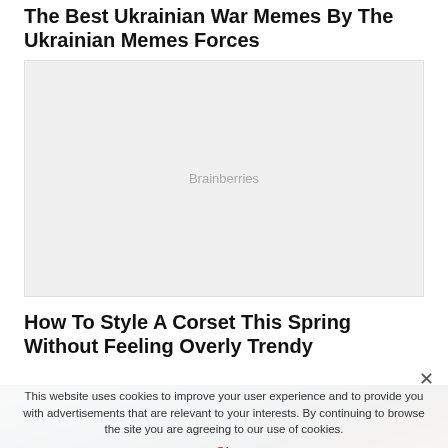The Best Ukrainian War Memes By The Ukrainian Memes Forces
[Figure (other): Advertisement placeholder block with 'Brainberries' label, light gray background]
How To Style A Corset This Spring Without Feeling Overly Trendy
This website uses cookies to improve your user experience and to provide you with advertisements that are relevant to your interests. By continuing to browse the site you are agreeing to our use of cookies.
Ok
[Figure (photo): Photo of people, appears to show figures in an outdoor scene with structures in the background]